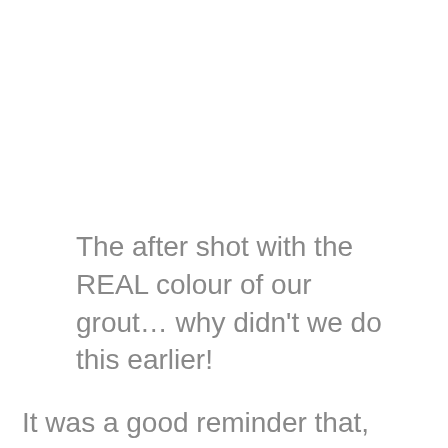The after shot with the REAL colour of our grout… why didn't we do this earlier!
It was a good reminder that, although there